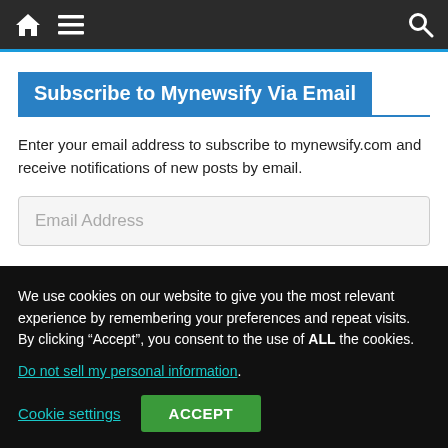Navigation bar with home, menu, and search icons
Subscribe to Mynewsify Via Email
Enter your email address to subscribe to mynewsify.com and receive notifications of new posts by email.
Email Address
We use cookies on our website to give you the most relevant experience by remembering your preferences and repeat visits. By clicking “Accept”, you consent to the use of ALL the cookies.
Do not sell my personal information.
Cookie settings
ACCEPT